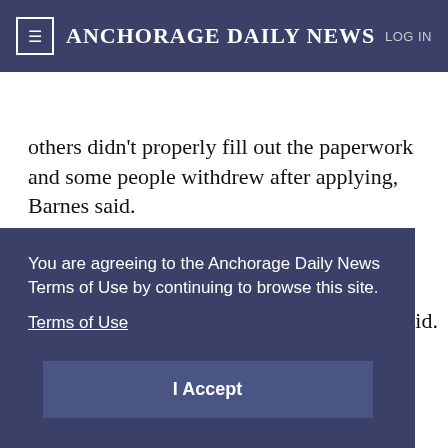≡ ANCHORAGE DAILY NEWS   LOG IN
Start your subscription for just $1.99  SUBSCRIBE
others didn't properly fill out the paperwork and some people withdrew after applying, Barnes said.
The sign-up for the new round began a couple of weeks ago. It ends this Friday at 11:59 p.m.
“We want to make sure every Alaskan who is
You are agreeing to the Anchorage Daily News Terms of Use by continuing to browse this site.
Terms of Use
I Accept